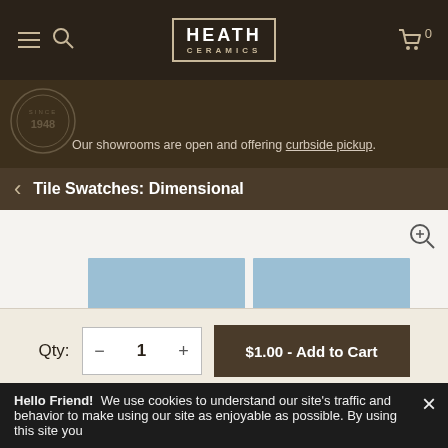Heath Ceramics — navigation bar with menu, search, logo, and cart (0 items)
Our showrooms are open and offering curbside pickup.
Tile Swatches: Dimensional
[Figure (photo): Product photo of light blue dimensional ceramic tile swatches arranged in a grid pattern with grey grout lines, shown on a light beige background. A zoom/magnify icon is in the top right.]
Qty:  − 1 +    $1.00 - Add to Cart
Hello Friend!  We use cookies to understand our site's traffic and behavior to make using our site as enjoyable as possible. By using this site you